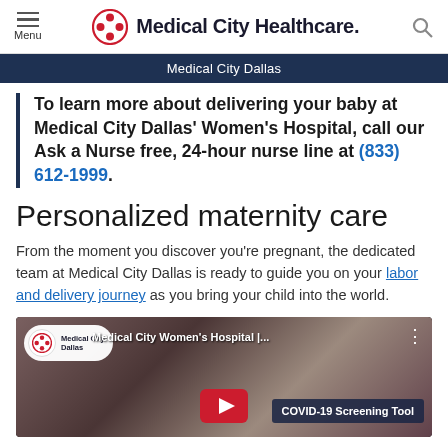Menu | Medical City Healthcare | Search
Medical City Dallas
To learn more about delivering your baby at Medical City Dallas' Women's Hospital, call our Ask a Nurse free, 24-hour nurse line at (833) 612-1999.
Personalized maternity care
From the moment you discover you're pregnant, the dedicated team at Medical City Dallas is ready to guide you on your labor and delivery journey as you bring your child into the world.
[Figure (screenshot): YouTube video thumbnail showing Medical City Women's Hospital video with play button, channel logo, video title 'Medical City Women's Hospital |...', and a COVID-19 Screening Tool badge overlay]